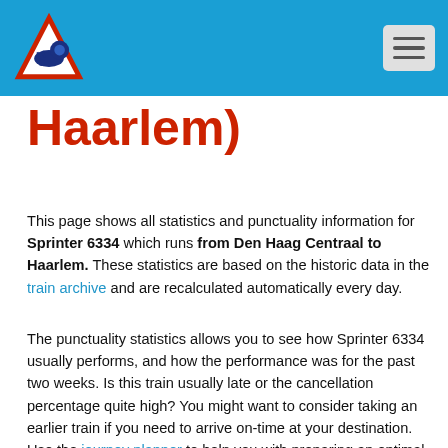Haarlem)
This page shows all statistics and punctuality information for Sprinter 6334 which runs from Den Haag Centraal to Haarlem. These statistics are based on the historic data in the train archive and are recalculated automatically every day.
The punctuality statistics allows you to see how Sprinter 6334 usually performs, and how the performance was for the past two weeks. Is this train usually late or the cancellation percentage quite high? You might want to consider taking an earlier train if you need to arrive on-time at your destination. Use the journey planner to help you with preparing an optimal train trip.
Punctuality for Sprinter 6334
This is the punctuality for Sprinter 6334 (Den Haag Centraal